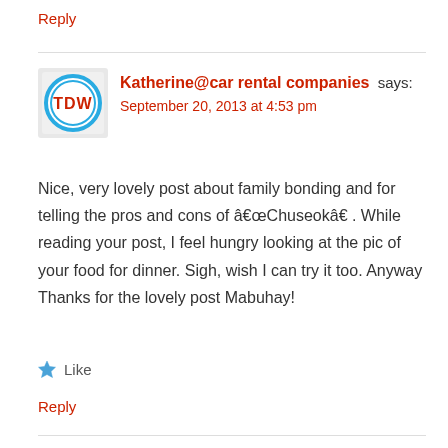Reply
[Figure (logo): TDW logo: blue circle with TDW letters in red/blue gradient style]
Katherine@car rental companies says:
September 20, 2013 at 4:53 pm
Nice, very lovely post about family bonding and for telling the pros and cons of â€œChuseokâ€ . While reading your post, I feel hungry looking at the pic of your food for dinner. Sigh, wish I can try it too. Anyway Thanks for the lovely post Mabuhay!
Like
Reply